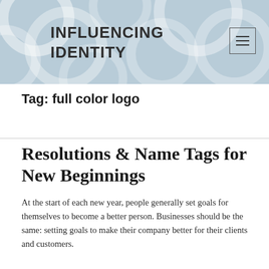INFLUENCING IDENTITY
Tag: full color logo
Resolutions & Name Tags for New Beginnings
At the start of each new year, people generally set goals for themselves to become a better person. Businesses should be the same: setting goals to make their company better for their clients and customers.